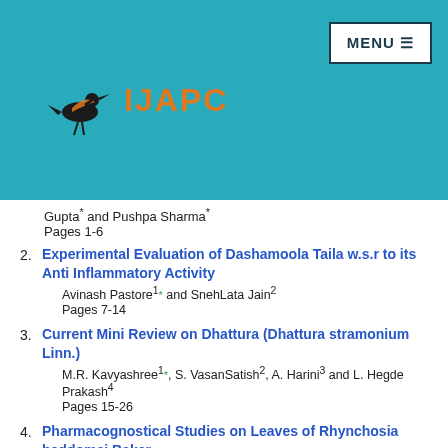[Figure (logo): IJAPC journal logo with bird silhouette and orange text]
Gupta* and Pushpa Sharma*
Pages 1-6
2. Experimental Evaluation of Dashamoola Taila w.s.r to its Anti Inflammatory Activity
Avinash Pastore1* and SnehLata Jain2
Pages 7-14
3. Current Mini Review on Dhattura (Dhattura stramonium Linn.)
M.R. Kavyashree1*, S. VasanSatish2, A. Harini3 and L. Hegde Prakash4
Pages 15-26
4. Pharmacognostical Studies on Leaves of Rhynchosia beddomei Baker
C. Ramesh1, G. Penchala Pratap2*, V. Nagaraju3, A.